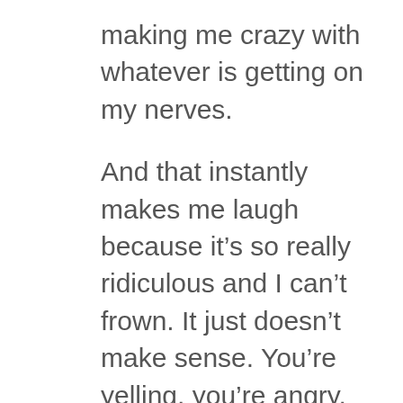making me crazy with whatever is getting on my nerves.
And that instantly makes me laugh because it's so really ridiculous and I can't frown. It just doesn't make sense. You're yelling, you're angry, but you're smiling stupid. But it makes you laugh and it shifts your energy. It's enough to break that circuit so you can then think about your goal. Think about what you want. Take just a moment to close your eyes. And when that negative voice keeps coming in don't go there.  Just  think about your goal and